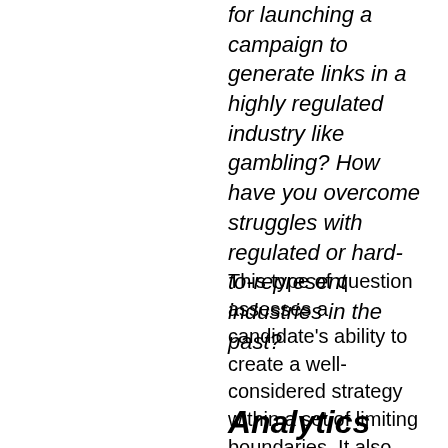for launching a campaign to generate links in a highly regulated industry like gambling? How have you overcome struggles with regulated or hard-to-represent industries in the past?
This type of question assesses a candidate's ability to create a well-considered strategy within a set of limiting boundaries. It also assumes prior experience of more complicated campaigns.
Analytics